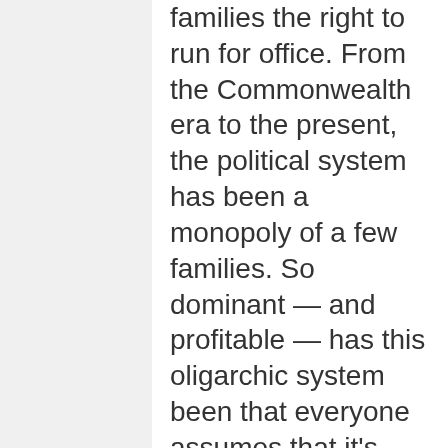families the right to run for office. From the Commonwealth era to the present, the political system has been a monopoly of a few families. So dominant — and profitable — has this oligarchic system been that everyone assumes that it's normal for a politician and wife, son, daughter, brother, uncle, aunt or whatever to be in the government either serially or at the same time.

Only Grace Poe among the